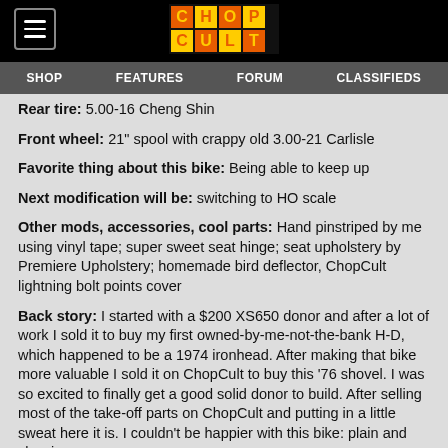ChopCult — SHOP | FEATURES | FORUM | CLASSIFIEDS
Rear tire: 5.00-16 Cheng Shin
Front wheel: 21" spool with crappy old 3.00-21 Carlisle
Favorite thing about this bike: Being able to keep up
Next modification will be: switching to HO scale
Other mods, accessories, cool parts: Hand pinstriped by me using vinyl tape; super sweet seat hinge; seat upholstery by Premiere Upholstery; homemade bird deflector, ChopCult lightning bolt points cover
Back story: I started with a $200 XS650 donor and after a lot of work I sold it to buy my first owned-by-me-not-the-bank H-D, which happened to be a 1974 ironhead. After making that bike more valuable I sold it on ChopCult to buy this '76 shovel. I was so excited to finally get a good solid donor to build. After selling most of the take-off parts on ChopCult and putting in a little sweat here it is. I couldn't be happier with this bike: plain and classic